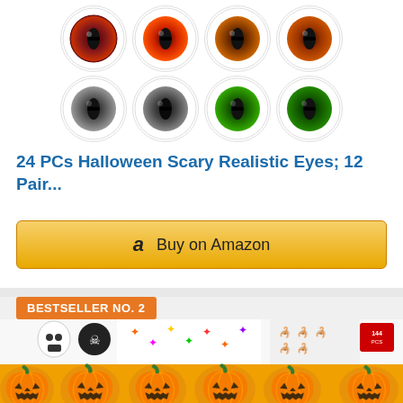[Figure (photo): Grid of 8 realistic Halloween eyeballs in two rows: top row has 4 red/brown eyes, bottom row has 2 grey eyes and 2 green eyes, all with white sclera]
24 PCs Halloween Scary Realistic Eyes; 12 Pair...
[Figure (other): Buy on Amazon button with Amazon logo 'a' icon]
BESTSELLER NO. 2
[Figure (photo): Halloween stickers/tattoos product image showing skulls, bats, spiders, scorpions (144 PCs) with jack-o-lantern pumpkins overlaid at bottom]